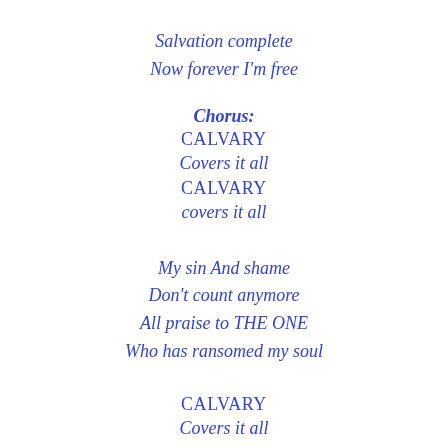Salvation complete
Now forever I'm free
Chorus:
CALVARY
Covers it all
CALVARY
covers it all
My sin And shame
Don't count anymore
All praise to THE ONE
Who has ransomed my soul
CALVARY
Covers it all